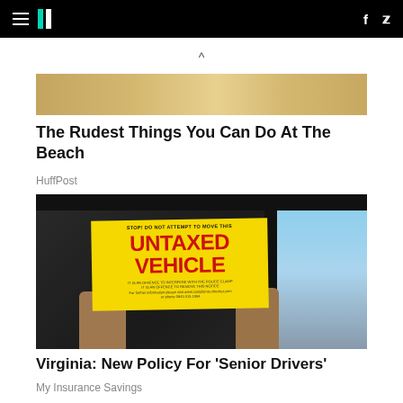HuffPost navigation bar with hamburger menu, logo, Facebook and Twitter icons
[Figure (photo): Cropped bottom edge of a beach photo showing sand and water]
The Rudest Things You Can Do At The Beach
HuffPost
[Figure (photo): Person holding a yellow sign reading 'STOP! DO NOT ATTEMPT TO MOVE THIS UNTAXED VEHICLE' through a car window]
Virginia: New Policy For 'Senior Drivers'
My Insurance Savings